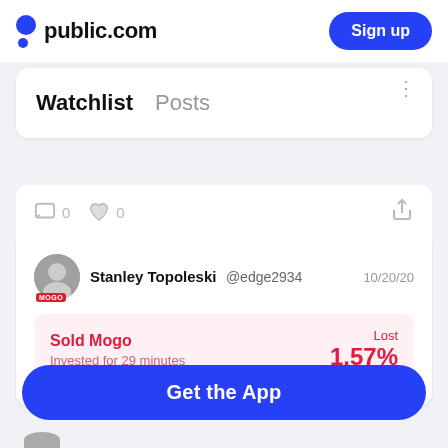public.com   Sign up
Watchlist   Posts
0  0
Stanley Topoleski @edge2934   10/20/20
Sold Mogo
Invested for 29 minutes
Lost 1.57%
Get the App